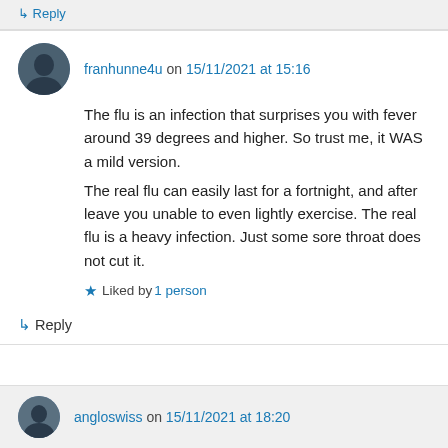↳ Reply
franhunne4u on 15/11/2021 at 15:16
The flu is an infection that surprises you with fever around 39 degrees and higher. So trust me, it WAS a mild version.
The real flu can easily last for a fortnight, and after leave you unable to even lightly exercise. The real flu is a heavy infection. Just some sore throat does not cut it.
Liked by 1 person
↳ Reply
angloswiss on 15/11/2021 at 18:20